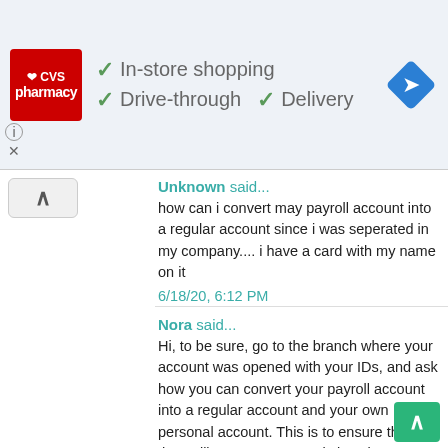[Figure (infographic): CVS Pharmacy advertisement banner showing logo and checkmarks for In-store shopping, Drive-through, and Delivery services, with a blue navigation diamond icon]
Unknown said...
how can i convert may payroll account into a regular account since i was seperated in my company.... i have a card with my name on it
6/18/20, 6:12 PM
Nora said...
Hi, to be sure, go to the branch where your account was opened with your IDs, and ask how you can convert your payroll account into a regular account and your own personal account. This is to ensure that they will remove any restrictions in your payroll account (like no check deposit, or no over the counter deposit).
Remember that when your account is converted into a regular account, you need to maintain your required minimum balance, otherwise you will be charged or penalized.